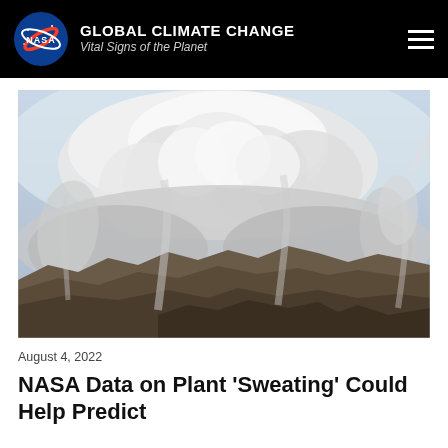GLOBAL CLIMATE CHANGE Vital Signs of the Planet
[Figure (photo): Aerial photograph of a large wildfire showing massive smoke plumes billowing over mountainous terrain, taken from high altitude. Dense white and gray smoke clouds dominate the upper portion, with rugged brown mountain ridges visible below.]
August 4, 2022
NASA Data on Plant 'Sweating' Could Help Predict